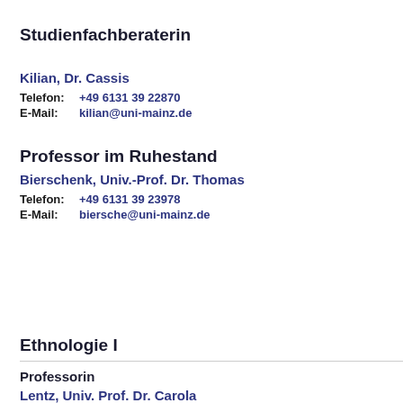Studienfachberaterin
Kilian, Dr. Cassis
Telefon: +49 6131 39 22870
E-Mail: kilian@uni-mainz.de
Professor im Ruhestand
Bierschenk, Univ.-Prof. Dr. Thomas
Telefon: +49 6131 39 23978
E-Mail: biersche@uni-mainz.de
Ethnologie I
Professorin
Lentz, Univ. Prof. Dr. Carola